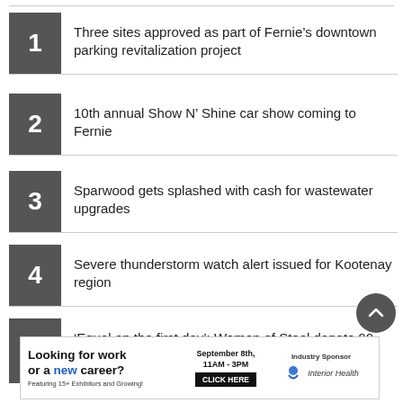1 Three sites approved as part of Fernie’s downtown parking revitalization project
2 10th annual Show N’ Shine car show coming to Fernie
3 Sparwood gets splashed with cash for wastewater upgrades
4 Severe thunderstorm watch alert issued for Kootenay region
5 ‘Equal on the first day’: Women of Steel donate 99 backpacks full of school supplies
[Figure (infographic): Advertisement banner: 'Looking for work or a new career? Featuring 15+ Exhibitors and Growing!' September 8th, 11AM-3PM, CLICK HERE. Industry Sponsor: Interior Health]